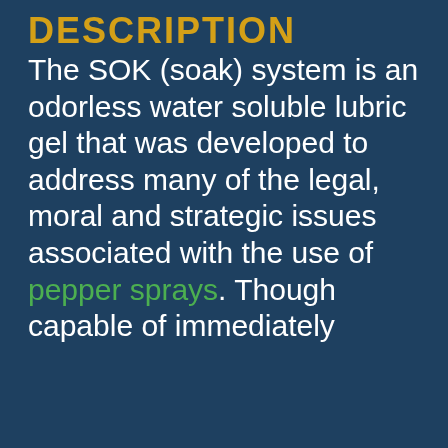DESCRIPTION
The SOK (soak) system is an odorless water soluble lubric gel that was developed to address many of the legal, moral and strategic issues associated with the use of pepper sprays. Though capable of immediately